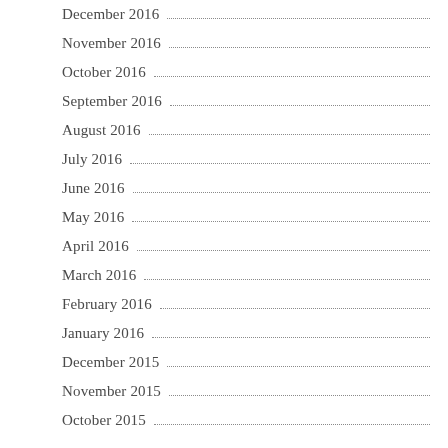December 2016
November 2016
October 2016
September 2016
August 2016
July 2016
June 2016
May 2016
April 2016
March 2016
February 2016
January 2016
December 2015
November 2015
October 2015